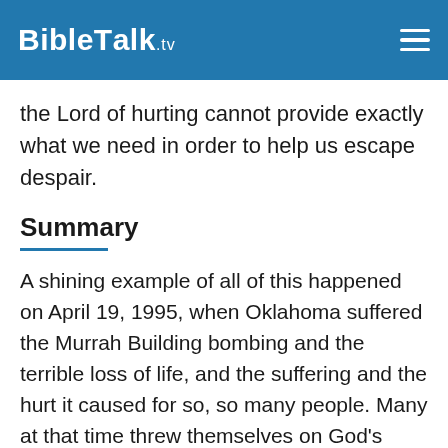BibleTalk.TV
the Lord of hurting cannot provide exactly what we need in order to help us escape despair.
Summary
A shining example of all of this happened on April 19, 1995, when Oklahoma suffered the Murrah Building bombing and the terrible loss of life, and the suffering and the hurt it caused for so, so many people. Many at that time threw themselves on God's mercy and prayer and found the only one who truly could console them for their terrible loss and pain was the Lord himself.